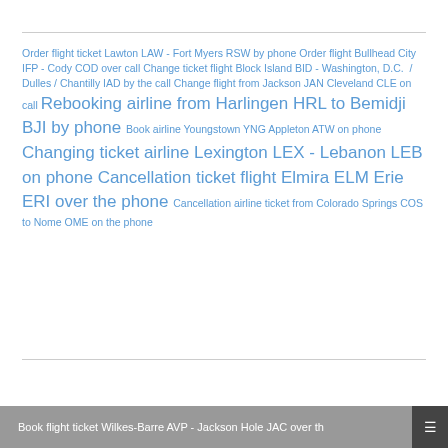Order flight ticket Lawton LAW - Fort Myers RSW by phone Order flight Bullhead City IFP - Cody COD over call Change ticket flight Block Island BID - Washington, D.C.  / Dulles / Chantilly IAD by the call Change flight from Jackson JAN Cleveland CLE on call Rebooking airline from Harlingen HRL to Bemidji BJI by phone Book airline Youngstown YNG Appleton ATW on phone Changing ticket airline Lexington LEX - Lebanon LEB on phone Cancellation ticket flight Elmira ELM Erie ERI over the phone Cancellation airline ticket from Colorado Springs COS to Nome OME on the phone
Book flight ticket Wilkes-Barre AVP - Jackson Hole JAC over th